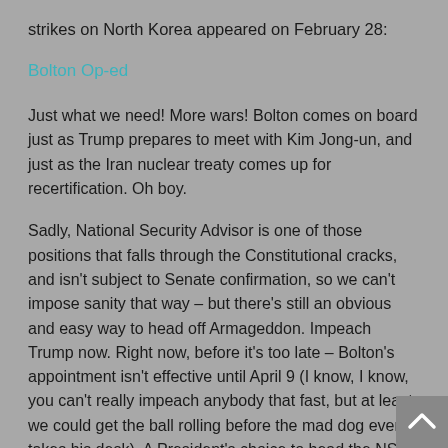strikes on North Korea appeared on February 28:
Bolton Op-ed
Just what we need! More wars! Bolton comes on board just as Trump prepares to meet with Kim Jong-un, and just as the Iran nuclear treaty comes up for recertification. Oh boy.
Sadly, National Security Advisor is one of those positions that falls through the Constitutional cracks, and isn't subject to Senate confirmation, so we can't impose sanity that way – but there's still an obvious and easy way to head off Armageddon. Impeach Trump now. Right now, before it's too late – Bolton's appointment isn't effective until April 9 (I know, I know, you can't really impeach anybody that fast, but at least we could get the ball rolling before the mad dog even takes his desk). A President's choice to head the NSC, however terrifyingly I'll-advised, may not be grounds to remove him from office...